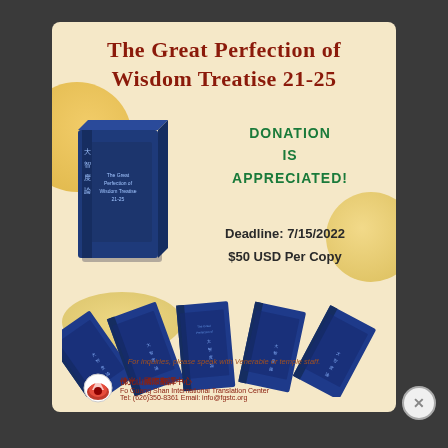The Great Perfection of Wisdom Treatise 21-25
[Figure (illustration): Blue boxed book set - The Great Perfection of Wisdom Treatise 21-25]
DONATION
IS
APPRECIATED!
Deadline: 7/15/2022
$50 USD Per Copy
[Figure (illustration): Five blue book volumes fanned out]
For inquiries, please speak with Venerable or temple staff.
佛光山國際翻譯中心
Fo Guang Shan International Translation Center
Tel: (626)350-8361 Email: info@fgstc.org